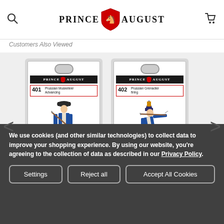Prince August
Customers Also Viewed
[Figure (photo): Product card for item 401 - Prussian Musketeer Advancing, 54mm scale figure from Prince August]
[Figure (photo): Product card for item 402 - Prussian Grenadier Firing, 54mm scale figure from Prince August]
We use cookies (and other similar technologies) to collect data to improve your shopping experience. By using our website, you're agreeing to the collection of data as described in our Privacy Policy.